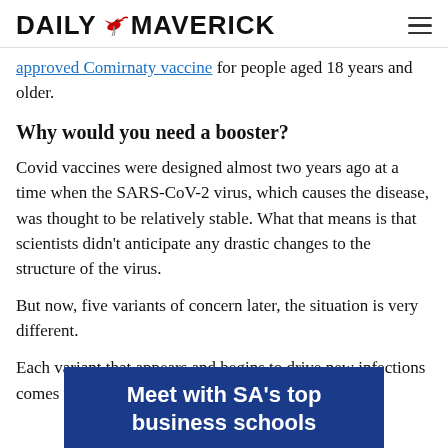DAILY MAVERICK
approved Comirnaty vaccine for people aged 18 years and older.
Why would you need a booster?
Covid vaccines were designed almost two years ago at a time when the SARS-CoV-2 virus, which causes the disease, was thought to be relatively stable. What that means is that scientists didn't anticipate any drastic changes to the structure of the virus.
But now, five variants of concern later, the situation is very different.
Each variant that appears and begins to drive new infections comes with its own set of mutations, or
[Figure (infographic): Blue advertisement banner reading 'Meet with SA's top business schools']